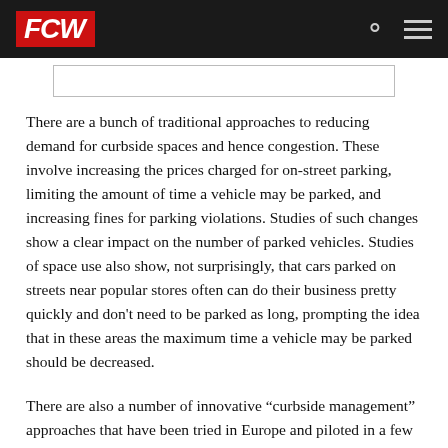FCW
There are a bunch of traditional approaches to reducing demand for curbside spaces and hence congestion. These involve increasing the prices charged for on-street parking, limiting the amount of time a vehicle may be parked, and increasing fines for parking violations. Studies of such changes show a clear impact on the number of parked vehicles. Studies of space use also show, not surprisingly, that cars parked on streets near popular stores often can do their business pretty quickly and don’t need to be parked as long, prompting the idea that in these areas the maximum time a vehicle may be parked should be decreased.
There are also a number of innovative “curbside management” approaches that have been tried in Europe and piloted in a few jurisdictions in the U.S. These include using small “e-cargo bikes” for deliveries rather than trucks, an app that allows trucks to locate